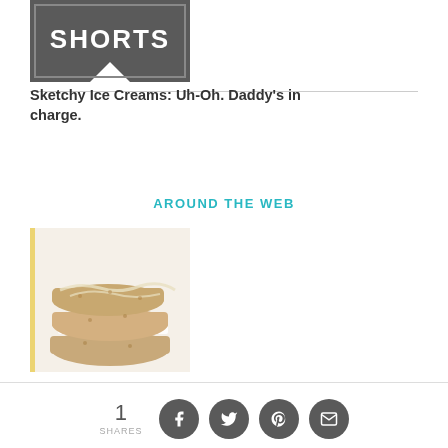[Figure (logo): Dark gray logo block with text 'SHORTS' in white bold letters and a bookmark-like shape with a notch at the bottom]
Sketchy Ice Creams: Uh-Oh. Daddy's in charge.
AROUND THE WEB
[Figure (photo): Stack of glazed oat bars or scones on a white plate]
1 SHARES [Facebook] [Twitter] [Pinterest] [Email]